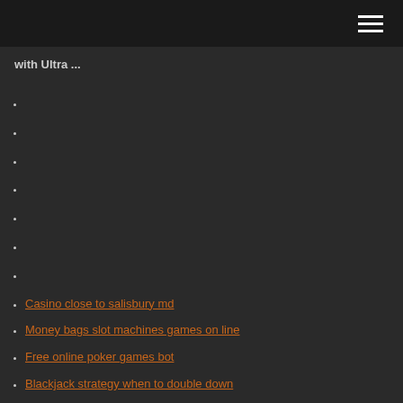with Ultra ...
Casino close to salisbury md
Money bags slot machines games on line
Free online poker games bot
Blackjack strategy when to double down
Vidio comic 8 casino kings 2
Printable chart of poker hands